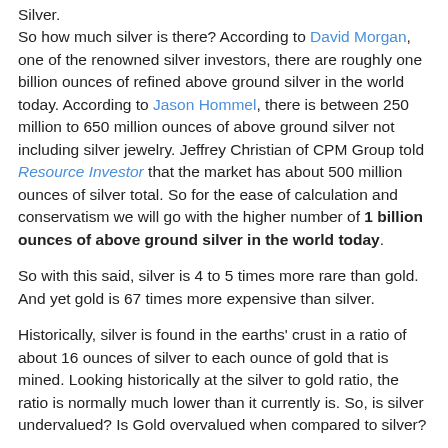Silver. So how much silver is there? According to David Morgan, one of the renowned silver investors, there are roughly one billion ounces of refined above ground silver in the world today. According to Jason Hommel, there is between 250 million to 650 million ounces of above ground silver not including silver jewelry. Jeffrey Christian of CPM Group told Resource Investor that the market has about 500 million ounces of silver total. So for the ease of calculation and conservatism we will go with the higher number of 1 billion ounces of above ground silver in the world today.
So with this said, silver is 4 to 5 times more rare than gold. And yet gold is 67 times more expensive than silver.
Historically, silver is found in the earths' crust in a ratio of about 16 ounces of silver to each ounce of gold that is mined. Looking historically at the silver to gold ratio, the ratio is normally much lower than it currently is. So, is silver undervalued? Is Gold overvalued when compared to silver?
Can this really be true? How long can this last? How many people in the world are totally aware of this?